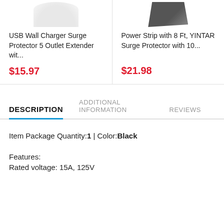[Figure (photo): Product image of USB Wall Charger Surge Protector (white/rounded device)]
USB Wall Charger Surge Protector 5 Outlet Extender wit...
$15.97
[Figure (photo): Product image of Power Strip / Surge Protector (dark/black device)]
Power Strip with 8 Ft, YINTAR Surge Protector with 10...
$21.98
DESCRIPTION  ADDITIONAL INFORMATION  REVIEWS
Item Package Quantity:1 | Color:Black
Features:
Rated voltage: 15A, 125V